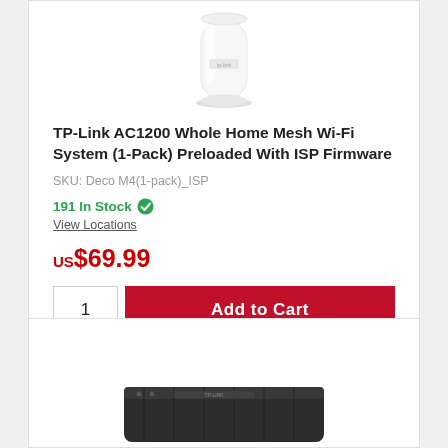[Figure (photo): White cylindrical TP-Link Deco mesh Wi-Fi router unit, viewed from slight angle, with tp-link logo on front]
TP-Link AC1200 Whole Home Mesh Wi-Fi System (1-Pack) Preloaded With ISP Firmware
SKU: Deco M4(1-pack)_ISP
191 In Stock ✓
View Locations
US$69.99
1  Add to Cart
[Figure (photo): Bottom portion of a black TP-Link networking device, partially visible]